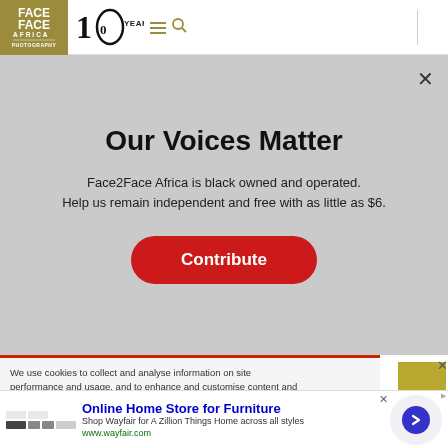[Figure (logo): Face2Face Africa logo with golden/olive background, white text reading FACE FACE AFRICA with stylized F letters, next to 10 YEARS text and menu/search icons]
Our Voices Matter
Face2Face Africa is black owned and operated. Help us remain independent and free with as little as $6.
Contribute
[Figure (photo): Background photo showing dark hair/scalp on left and purple bowl/object on right, partially visible behind modal overlay]
We use cookies to collect and analyse information on site performance and usage, and to enhance and customise content and advertising. By Clicking 'Accept' or clicking into any content on...
[Figure (infographic): Advertisement banner for Wayfair Online Home Store for Furniture with logos, text and circular arrow button]